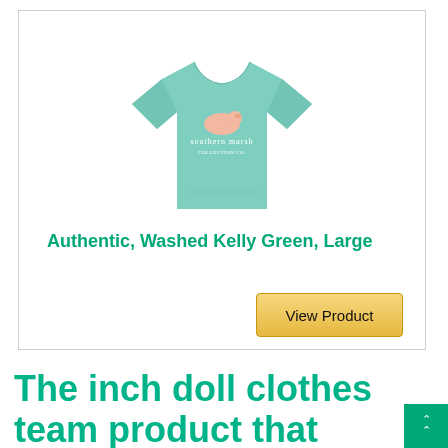[Figure (photo): A mint/teal green t-shirt showing the back with Southern Marsh logo and a duck graphic]
Authentic, Washed Kelly Green, Large
View Product
The inch doll clothes team product that helps improve